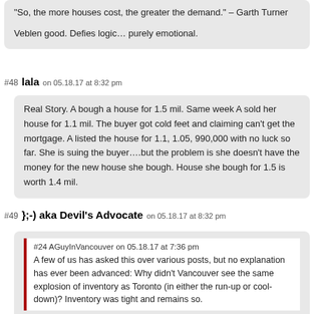“So, the more houses cost, the greater the demand.” – Garth Turner

Veblen good. Defies logic… purely emotional.
#48 lala on 05.18.17 at 8:32 pm
Real Story. A bough a house for 1.5 mil. Same week A sold her house for 1.1 mil. The buyer got cold feet and claiming can’t get the mortgage. A listed the house for 1.1, 1.05, 990,000 with no luck so far. She is suing the buyer….but the problem is she doesn’t have the money for the new house she bough. House she bough for 1.5 is worth 1.4 mil.
#49 };-) aka Devil’s Advocate on 05.18.17 at 8:32 pm
#24 AGuyInVancouver on 05.18.17 at 7:36 pm
A few of us has asked this over various posts, but no explanation has ever been advanced: Why didn’t Vancouver see the same explosion of inventory as Toronto (in either the run-up or cool-down)? Inventory was tight and remains so.